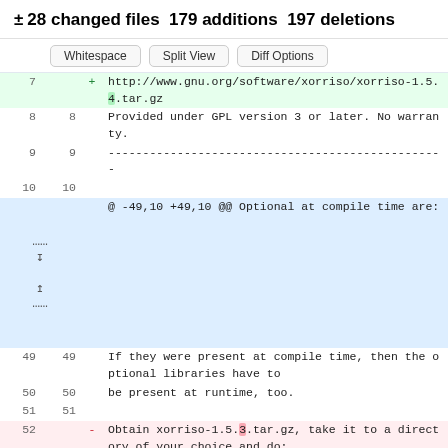± 28 changed files  179 additions  197 deletions
[Figure (screenshot): Diff view with Whitespace, Split View, Diff Options buttons and code diff rows showing file changes]
| old_ln | new_ln | sign | code |
| --- | --- | --- | --- |
| 7 |  | + | http://www.gnu.org/software/xorriso/xorriso-1.5.4.tar.gz |
| 8 | 8 |  | Provided under GPL version 3 or later. No warranty. |
| 9 | 9 |  | ----------------------------------------------- |
| 10 | 10 |  |  |
|  |  |  | @ -49,10 +49,10 @@ Optional at compile time are: |
| 49 | 49 |  | If they were present at compile time, then the optional libraries have to |
| 50 | 50 |  | be present at runtime, too. |
| 51 | 51 |  |  |
| 52 |  | - | Obtain xorriso-1.5.3.tar.gz, take it to a directory of your choice and do: |
|  | 52 | + | Obtain xorriso-1.5.4.tar.gz, take it to a directory of your choice and do: |
| 53 | 53 |  |  |